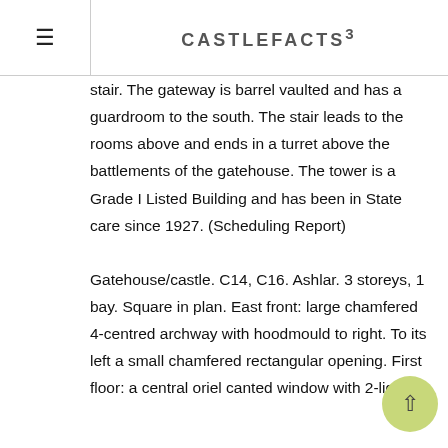CASTLEFACTS³
stair. The gateway is barrel vaulted and has a guardroom to the south. The stair leads to the rooms above and ends in a turret above the battlements of the gatehouse. The tower is a Grade I Listed Building and has been in State care since 1927. (Scheduling Report)

Gatehouse/castle. C14, C16. Ashlar. 3 storeys, 1 bay. Square in plan. East front: large chamfered 4-centred archway with hoodmould to right. To its left a small chamfered rectangular opening. First floor: a central oriel canted window with 2-light